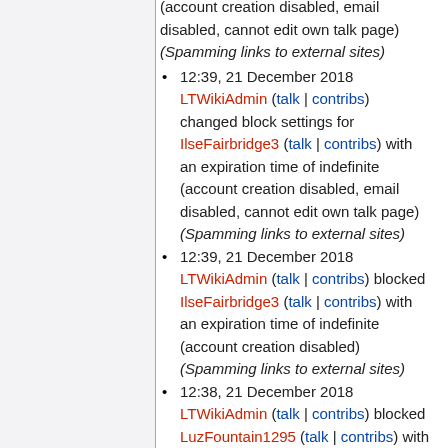(account creation disabled, email disabled, cannot edit own talk page) (Spamming links to external sites)
12:39, 21 December 2018 LTWikiAdmin (talk | contribs) changed block settings for IlseFairbridge3 (talk | contribs) with an expiration time of indefinite (account creation disabled, email disabled, cannot edit own talk page) (Spamming links to external sites)
12:39, 21 December 2018 LTWikiAdmin (talk | contribs) blocked IlseFairbridge3 (talk | contribs) with an expiration time of indefinite (account creation disabled) (Spamming links to external sites)
12:38, 21 December 2018 LTWikiAdmin (talk | contribs) blocked LuzFountain1295 (talk | contribs) with